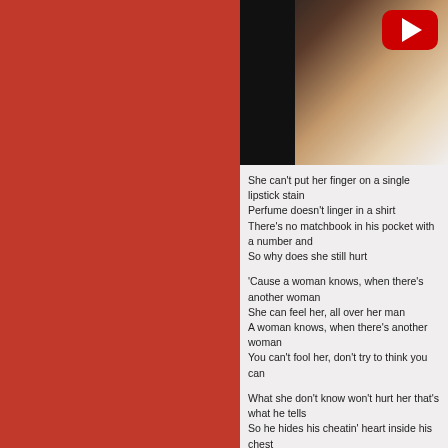[Figure (screenshot): YouTube video thumbnail showing a person with brown hair, white shirt, with a YouTube play button overlay in top right corner]
She can't put her finger on a single lipstick stain
Perfume doesn't linger in a shirt
There's no matchbook in his pocket with a number and
So why does she still hurt

'Cause a woman knows, when there's another woman
She can feel her, all over her man
A woman knows, when there's another woman
You can't fool her, don't try to think you can

What she don't know won't hurt her that's what he tells
So he hides his cheatin' heart inside his chest
He thinks he's put one over, but what he doesn't know
He's already confessed

A woman knows, when there's another woman
You can't fool her, don't try to think you can